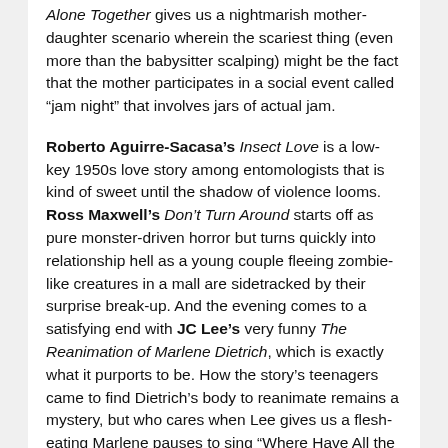Alone Together gives us a nightmarish mother-daughter scenario wherein the scariest thing (even more than the babysitter scalping) might be the fact that the mother participates in a social event called “jam night” that involves jars of actual jam.
Roberto Aguirre-Sacasa’s Insect Love is a low-key 1950s love story among entomologists that is kind of sweet until the shadow of violence looms. Ross Maxwell’s Don’t Turn Around starts off as pure monster-driven horror but turns quickly into relationship hell as a young couple fleeing zombie-like creatures in a mall are sidetracked by their surprise break-up. And the evening comes to a satisfying end with JC Lee’s very funny The Reanimation of Marlene Dietrich, which is exactly what it purports to be. How the story’s teenagers came to find Dietrich’s body to reanimate remains a mystery, but who cares when Lee gives us a flesh-eating Marlene pauses to sing “Where Have All the Flowers Gone.”
Director Desdemona Chiang and her game cast are